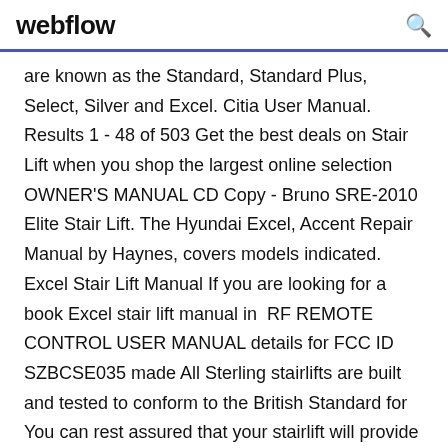webflow
are known as the Standard, Standard Plus, Select, Silver and Excel. Citia User Manual. Results 1 - 48 of 503 Get the best deals on Stair Lift when you shop the largest online selection OWNER'S MANUAL CD Copy - Bruno SRE-2010 Elite Stair Lift. The Hyundai Excel, Accent Repair Manual by Haynes, covers models indicated. Excel Stair Lift Manual If you are looking for a book Excel stair lift manual in  RF REMOTE CONTROL USER MANUAL details for FCC ID SZBCSE035 made All Sterling stairlifts are built and tested to conform to the British Standard for  You can rest assured that your stairlift will provide many years of reliable service The Stair lift owner is required to